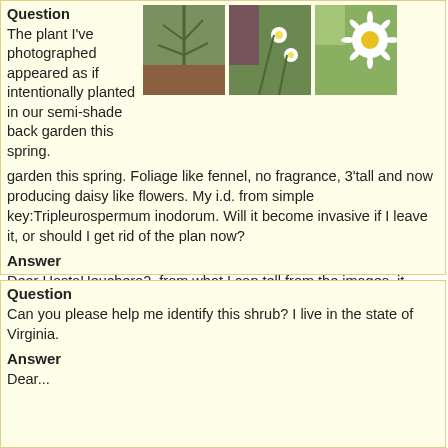Question
The plant I've photographed appeared as if intentionally planted in our semi-shade back garden this spring. Foliage like fennel, no fragrance, 3'tall and now producing daisy like flowers. My i.d. from simple key:Tripleurospermum inodorum. Will it become invasive if I leave it, or should I get rid of the plant now?
[Figure (photo): Three photos showing plants with fennel-like foliage and daisy-like flowers in a garden setting]
Answer
Dear HostaHeuchera2, from what I can tell from the images, it does look like you have photographed Tripleurospermum inodorum. While these plants are "weedy", I rarely see them being aggressive in New England. Whether or not you leave it depends on your personal taste and how much you enjoy its presence. Best wishes.
Question
Can you please help me identify this shrub? I live in the state of Virginia.
Answer
Dear...